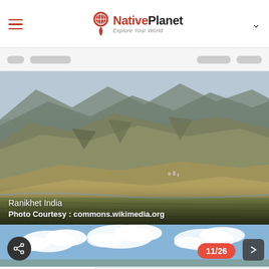NativePlanet - Explore Your World
[Figure (screenshot): NativePlanet website header with hamburger menu, logo with globe/pin icon, tagline 'Explore Your World', and dropdown chevron]
Nav bar with navigation pills (blurred/redacted text)
[Figure (photo): Landscape photograph of Ranikhet India showing terraced mountain hillsides and river valley with fields in foreground]
Ranikhet India
Photo Courtesy : commons.wikimedia.org
[Figure (photo): Thumbnail strip showing clouds and blue sky, with share button (dark circle with share icon), photo counter badge showing 11/26, and next navigation button]
11/26